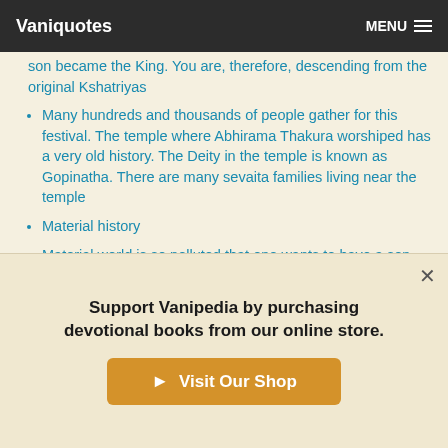Vaniquotes | MENU
son became the King. You are, therefore, descending from the original Kshatriyas
Many hundreds and thousands of people gather for this festival. The temple where Abhirama Thakura worshiped has a very old history. The Deity in the temple is known as Gopinatha. There are many sevaita families living near the temple
Material history
Material world is so polluted that one wants to have a son even though he is useless. This attitude was represented in the history of King Citraketu
Support Vanipedia by purchasing devotional books from our online store.
▶ Visit Our Shop